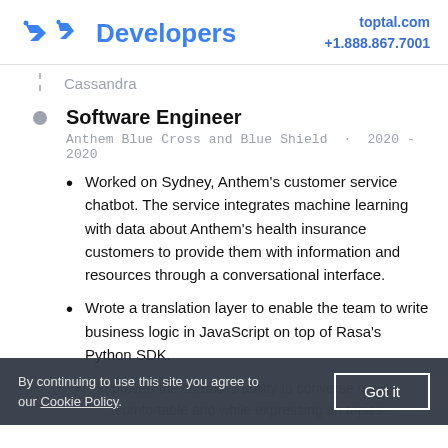Developers | toptal.com +1.888.867.7001
Cassandra
Software Engineer
Anthem Blue Cross and Blue Shield · 2020 - 2020
Worked on Sydney, Anthem's customer service chatbot. The service integrates machine learning with data about Anthem's health insurance customers to provide them with information and resources through a conversational interface.
Wrote a translation layer to enable the team to write business logic in JavaScript on top of Rasa's Python SDK.
By continuing to use this site you agree to our Cookie Policy. Got it